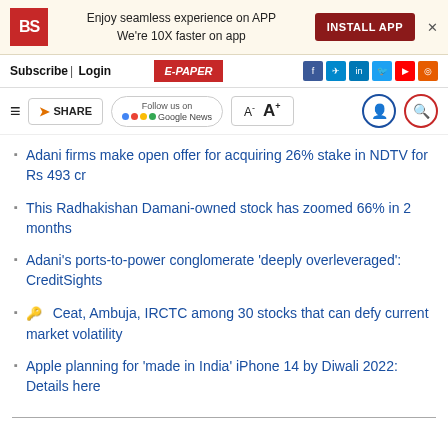[Figure (screenshot): Business Standard app banner with BS logo, install app button, and close X]
[Figure (screenshot): Navigation bar with Subscribe, Login, E-PAPER, and social media icons (Facebook, Telegram, LinkedIn, Twitter, YouTube, RSS)]
[Figure (screenshot): Toolbar with hamburger menu, SHARE button, Follow us on Google News, font size controls, user and search icons]
Adani firms make open offer for acquiring 26% stake in NDTV for Rs 493 cr
This Radhakishan Damani-owned stock has zoomed 66% in 2 months
Adani’s ports-to-power conglomerate ‘deeply overleveraged’: CreditSights
🔑 Ceat, Ambuja, IRCTC among 30 stocks that can defy current market volatility
Apple planning for ‘made in India’ iPhone 14 by Diwali 2022: Details here